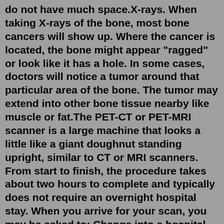do not have much space.X-rays. When taking X-rays of the bone, most bone cancers will show up. Where the cancer is located, the bone might appear "ragged" or look like it has a hole. In some cases, doctors will notice a tumor around that particular area of the bone. The tumor may extend into other bone tissue nearby like muscle or fat.The PET-CT or PET-MRI scanner is a large machine that looks a little like a giant doughnut standing upright, similar to CT or MRI scanners. From start to finish, the procedure takes about two hours to complete and typically does not require an overnight hospital stay. When you arrive for your scan, you may be asked to: Change into a hospital gownPet Training Guides. Wix is an online website builder with a simple drag & drop interface, meaning you do the work online and instantly publish to the web. Nothing to download, nothing to upload. Make them Behave. All Wix templates are fully customizable and free to use. Just pick one you like, click Edit, and enter the online